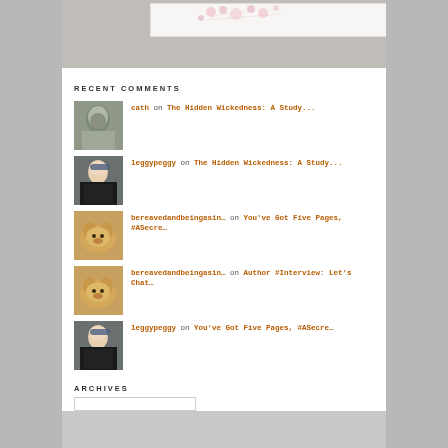[Figure (illustration): Blog header image with floral/cherry blossom watercolor design on white background, set against gray background]
RECENT COMMENTS
cath on The Hidden Wickedness: A Study...
leggypeggy on The Hidden Wickedness: A Study...
bereavedandbeingasin... on You've Got Five Pages, #ASecre...
bereavedandbeingasin... on Author #Interview: Let's Chat...
leggypeggy on You've Got Five Pages, #ASecre...
ARCHIVES